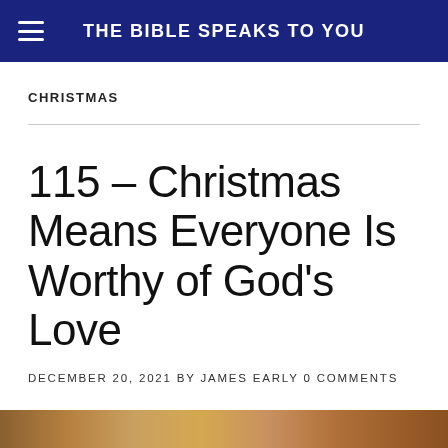THE BIBLE SPEAKS TO YOU
CHRISTMAS
115 – Christmas Means Everyone Is Worthy of God's Love
DECEMBER 20, 2021 BY JAMES EARLY 0 COMMENTS
[Figure (photo): Partial photo strip at bottom of page, warm golden-brown tones]